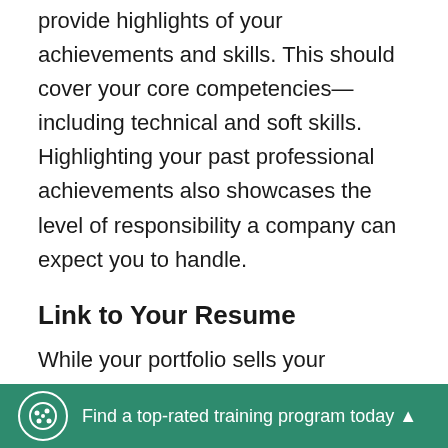Alongside your best projects, you should also provide highlights of your achievements and skills. This should cover your core competencies—including technical and soft skills. Highlighting your past professional achievements also showcases the level of responsibility a company can expect you to handle.
Link to Your Resume
While your portfolio sells your practical experience and capabilities, your resume tells others more about your educational and professional history. It also provides a more concise representation of your core skills and achievements.
Find a top-rated training program today ▲